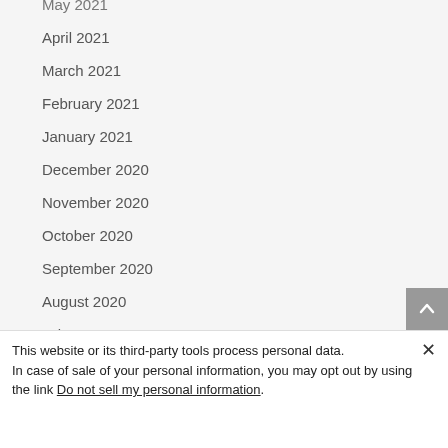May 2021
April 2021
March 2021
February 2021
January 2021
December 2020
November 2020
October 2020
September 2020
August 2020
July 2020
This website or its third-party tools process personal data.
In case of sale of your personal information, you may opt out by using the link Do not sell my personal information.